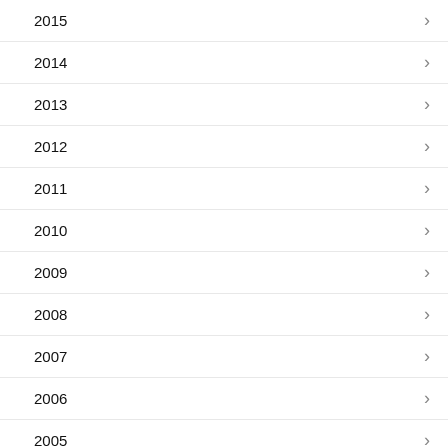2015 >
2014 >
2013 >
2012 >
2011 >
2010 >
2009 >
2008 >
2007 >
2006 >
2005 >
2004 >
2003 >
2002 >
2001 >
2000 v
GS >
GSX RFI v
GSX RFI, 5645/5654, 2000 v